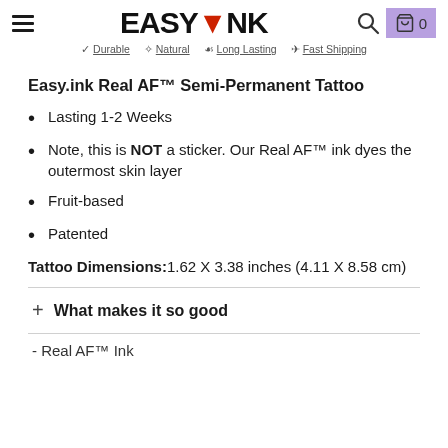EASYINK — Durable | Natural | Long Lasting | Fast Shipping
Easy.ink Real AF™ Semi-Permanent Tattoo
Lasting 1-2 Weeks
Note, this is NOT a sticker. Our Real AF™ ink dyes the outermost skin layer
Fruit-based
Patented
Tattoo Dimensions: 1.62 X 3.38 inches (4.11 X 8.58 cm)
+ What makes it so good
- Real AF™ Ink